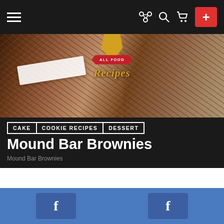Navigation bar with hamburger menu, share, search, cart icons, and + button
[Figure (photo): Hero banner photo of chocolate brownie bars with white cream filling and coconut topping, with All Food Recipes logo badge overlay]
CAKE   COOKIE RECIPES   DESSERT
Mound Bar Brownies
Mound Bar Brownies
by Allfoodrecipes
7 years ago
1.1k Views
This combination of chocolate and coconut is way too good, it does not take long preparation, about 30
[Figure (other): Facebook share buttons bar at the bottom]